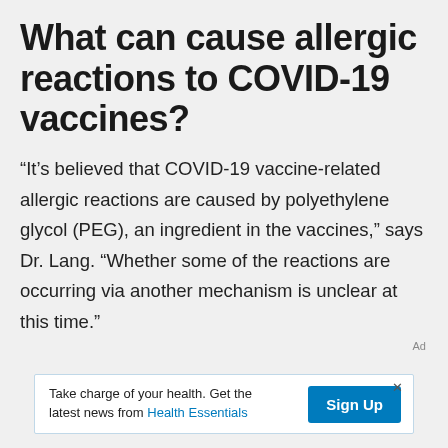What can cause allergic reactions to COVID-19 vaccines?
“It’s believed that COVID-19 vaccine-related allergic reactions are caused by polyethylene glycol (PEG), an ingredient in the vaccines,” says Dr. Lang. “Whether some of the reactions are occurring via another mechanism is unclear at this time.”
[Figure (other): Advertisement banner: 'Take charge of your health. Get the latest news from Health Essentials' with a 'Sign Up' button]